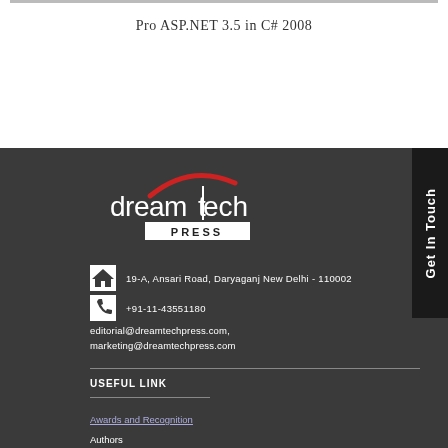Pro ASP.NET 3.5 in C# 2008
[Figure (logo): Dreamtech Press logo with red arc above white text on dark background]
19-A, Ansari Road, Daryaganj New Delhi - 110002
+91-11-43551180
editorial@dreamtechpress.com,
marketing@dreamtechpress.com
USEFUL LINK
Awards and Recognition
Authors